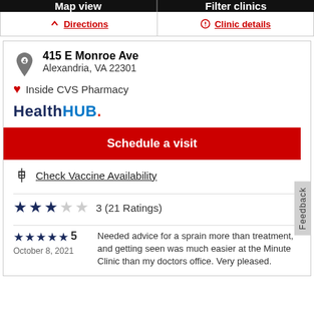Map view
Filter clinics
Directions
Clinic details
415 E Monroe Ave
Alexandria, VA 22301
Inside CVS Pharmacy
[Figure (logo): HealthHUB. logo with Health in dark navy, HUB in blue, and period in red]
Schedule a visit
Check Vaccine Availability
3 (21 Ratings)
5
October 8, 2021
Needed advice for a sprain more than treatment, and getting seen was much easier at the Minute Clinic than my doctors office. Very pleased.